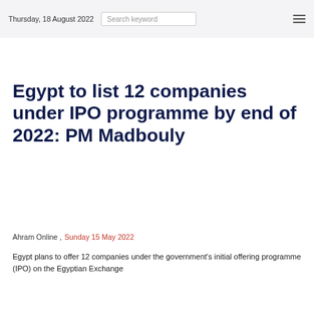Thursday, 18 August 2022
Egypt to list 12 companies under IPO programme by end of 2022: PM Madbouly
Ahram Online , Sunday 15 May 2022
Egypt plans to offer 12 companies under the government's initial offering programme (IPO) on the Egyptian Exchange